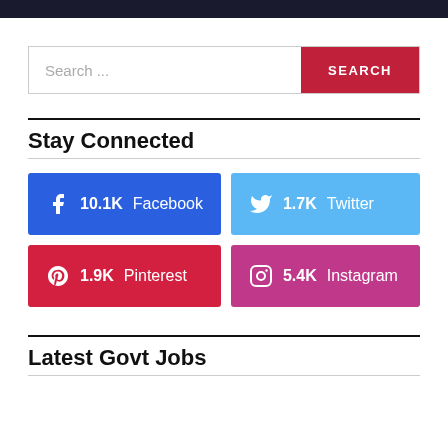Search ...
Stay Connected
10.1K Facebook
1.7K Twitter
1.9K Pinterest
5.4K Instagram
Latest Govt Jobs